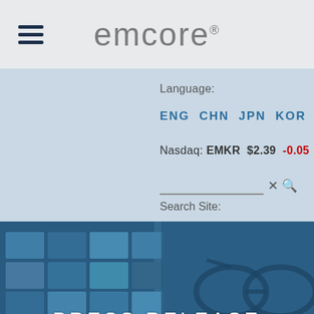emcore®
Language:
ENG  CHN  JPN  KOR
Nasdaq: EMKR  $2.39  -0.05
Search Site:
[Figure (photo): Hero banner image with blue-tinted collage of technology screens on the left and financial spreadsheet with glasses on the right, overlaid with the text PRESS RELEASE]
PRESS RELEASE